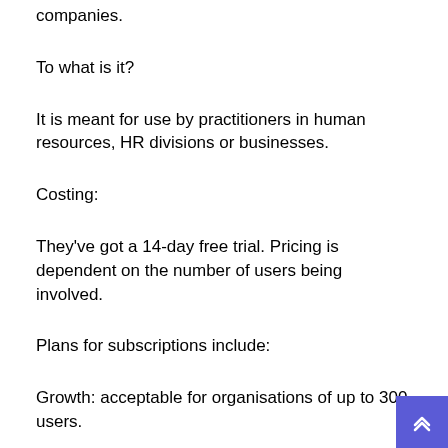companies.
To what is it?
It is meant for use by practitioners in human resources, HR divisions or businesses.
Costing:
They've got a 14-day free trial. Pricing is dependent on the number of users being involved.
Plans for subscriptions include:
Growth: acceptable for organisations of up to 300 users.
Enterprise: ideal for organisations of more than 300 customers searching for a more sophisticated approach